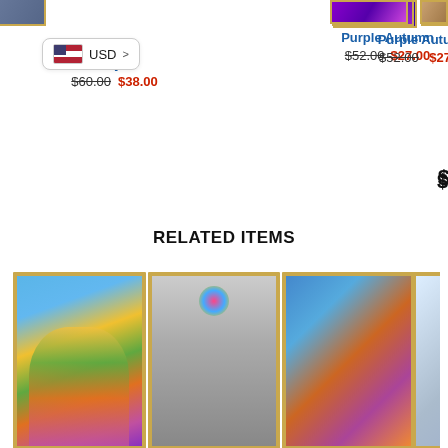[Figure (photo): Top portion of product image for Purple Autumn painting in gold frame]
[Figure (photo): Top portion of product image for Winter Bird In The Cherry painting in gold frame]
[Figure (photo): Partial right edge of another product image]
USD >
City 1
$60.00 $38.00
Purple Autumn
$52.00 $27.00
Winter Bird In The Cherry
$69.00 $28.00
$
RELATED ITEMS
[Figure (photo): Colorful elephant painting in gold frame - bright blues, yellows, greens]
[Figure (photo): Elephant with colorful spray in gray/monochrome background, gold frame]
[Figure (photo): Blue and orange elephant close-up painting in gold frame]
[Figure (photo): Partial fourth elephant painting, gold frame, right edge cut off]